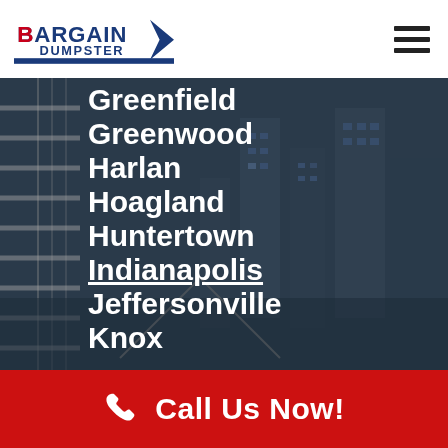Bargain Dumpster [logo] [hamburger menu]
Greenfield
Greenwood
Harlan
Hoagland
Huntertown
Indianapolis
Jeffersonville
Knox
Call Us Now!